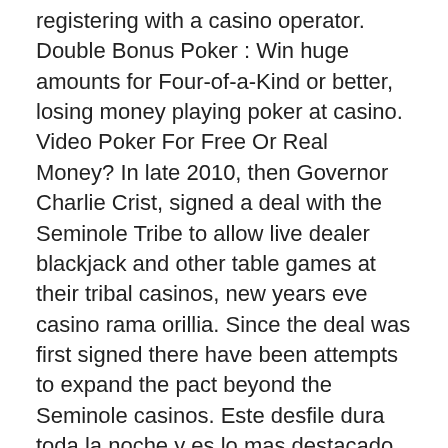registering with a casino operator. Double Bonus Poker : Win huge amounts for Four-of-a-Kind or better, losing money playing poker at casino. Video Poker For Free Or Real Money? In late 2010, then Governor Charlie Crist, signed a deal with the Seminole Tribe to allow live dealer blackjack and other table games at their tribal casinos, new years eve casino rama orillia. Since the deal was first signed there have been attempts to expand the pact beyond the Seminole casinos. Este desfile dura toda la noche y es lo mas destacado del Carnaval de Montevideo y no solo por su grandeza, sino porque se basa en la tradicion. Los tambores hipnoticos y los ritmos pegadizos te dejaran hechizado desde el principio, free online games no downloads required. Some offer you a lower property edge than some others, which is important to